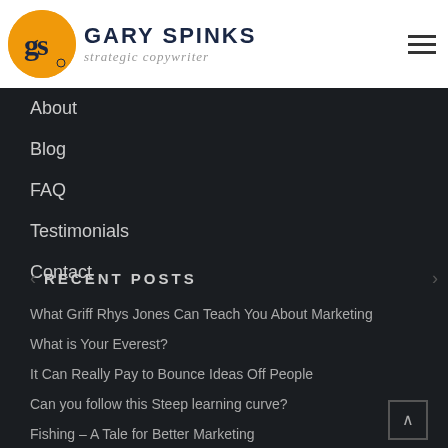[Figure (logo): Gary Spinks strategic copywriter logo with orange circle containing 'gs' initials and company name text]
About
Blog
FAQ
Testimonials
Contact
RECENT POSTS
What Griff Rhys Jones Can Teach You About Marketing
What is Your Everest?
It Can Really Pay to Bounce Ideas Off People
Can you follow this Steep learning curve?
Fishing – A Tale for Better Marketing